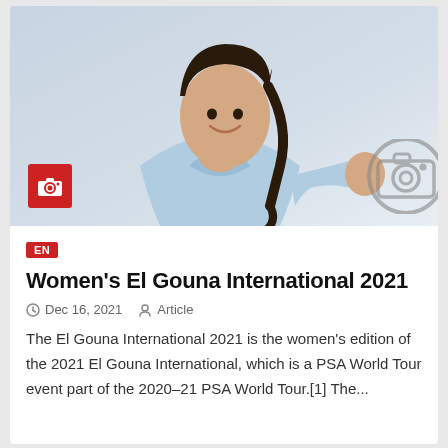[Figure (photo): Woman in light blue shirt giving a thumbs up, with a red camera icon badge overlay in the lower left and a gray camera icon in the lower right]
EN
Women's El Gouna International 2021
Dec 16, 2021  Article
The El Gouna International 2021 is the women's edition of the 2021 El Gouna International, which is a PSA World Tour event part of the 2020–21 PSA World Tour.[1] The...